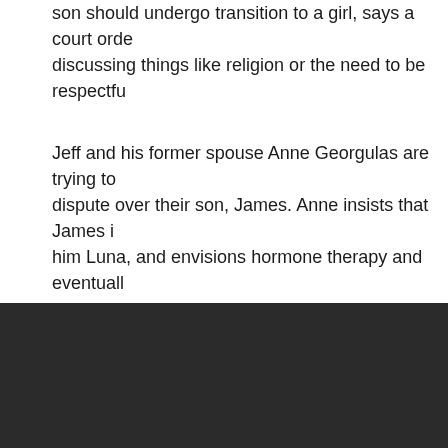son should undergo transition to a girl, says a court order discussing things like religion or the need to be respectfu
Jeff and his former spouse Anne Georgulas are trying to dispute over their son, James. Anne insists that James i him Luna, and envisions hormone therapy and eventuall the future. Jeff rejects the idea and says his son is perfe boy in his presence. The pair are fighting a legal battle, w ordering Jeff not to impose a male identity on the child.
The order forbids Jeff from calling his son James in front him as a girl, and this significantly limits what they can d Sophie Shevardnadze.
[Figure (photo): Dark background area at the bottom of the page]